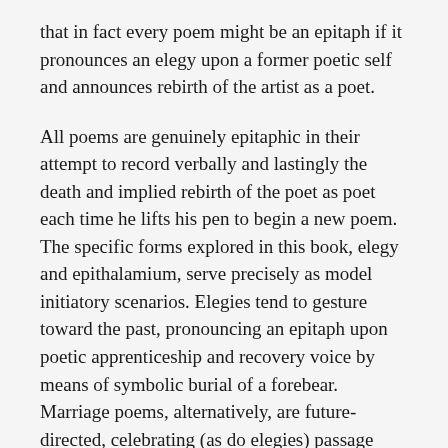that in fact every poem might be an epitaph if it pronounces an elegy upon a former poetic self and announces rebirth of the artist as a poet.
All poems are genuinely epitaphic in their attempt to record verbally and lastingly the death and implied rebirth of the poet as poet each time he lifts his pen to begin a new poem. The specific forms explored in this book, elegy and epithalamium, serve precisely as model initiatory scenarios. Elegies tend to gesture toward the past, pronouncing an epitaph upon poetic apprenticeship and recovery voice by means of symbolic burial of a forebear. Marriage poems, alternatively, are future-directed, celebrating (as do elegies) passage from virgin to mature state. Both forms aim at circumventing mortality, by apotheosis and deification in the case of the elegy, and by the projection forth of "issue" at the end of the marriage poem. Investigation of the symbolic reciprocity of these seemingly distinct forms yields a surprising range of